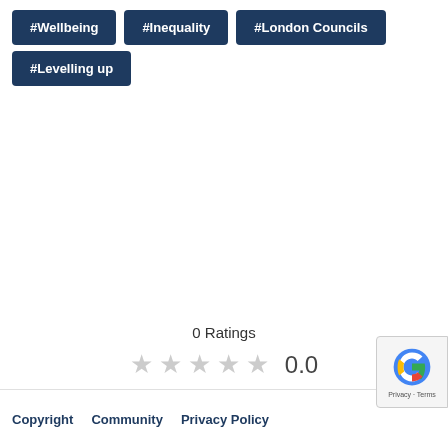#Wellbeing
#Inequality
#London Councils
#Levelling up
0 Ratings
★ ★ ★ ★ ★  0.0
Copyright  Community  Privacy Policy